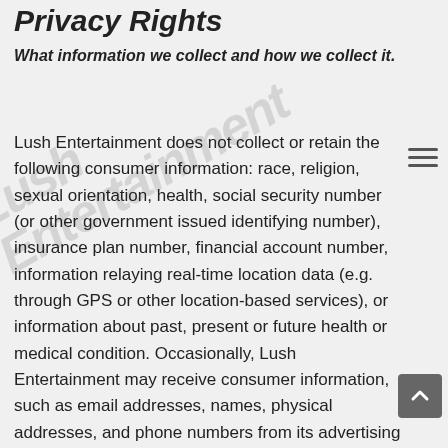Privacy Rights
What information we collect and how we collect it.
Lush Entertainment does not collect or retain the following consumer information: race, religion, sexual orientation, health, social security number (or other government issued identifying number), insurance plan number, financial account number, information relaying real-time location data (e.g. through GPS or other location-based services), or information about past, present or future health or medical condition. Occasionally, Lush Entertainment may receive consumer information, such as email addresses, names, physical addresses, and phone numbers from its advertising clients in connection with specific advertising campaigns. This consumer information is not retained by Lush Entertainment and is deleted following completion of the advertising campaigns. This consumer data is shared with